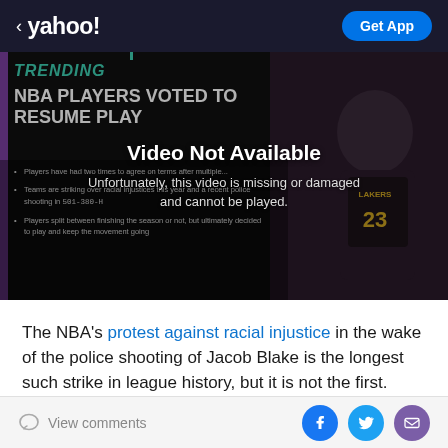< yahoo! | Get App
[Figure (screenshot): Video thumbnail showing NBA article with headline 'NBA PLAYERS VOTED TO RESUME PLAY' with a basketball player wearing #23 Lakers jersey in background. Overlay reads 'Video Not Available — Unfortunately, this video is missing or damaged and cannot be played.']
The NBA's protest against racial injustice in the wake of the police shooting of Jacob Blake is the longest such strike in league history, but it is not the first. Legends
View comments | [Facebook] [Twitter] [Email]